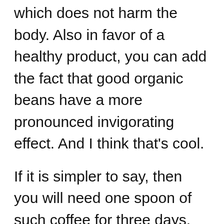which does not harm the body. Also in favor of a healthy product, you can add the fact that good organic beans have a more pronounced invigorating effect. And I think that's cool.
If it is simpler to say, then you will need one spoon of such coffee for three days, while one spoon of inorganic beans would be enough for a day.
But here it is necessary to note that there is a restriction: you can drink no more than 2 cups a day.